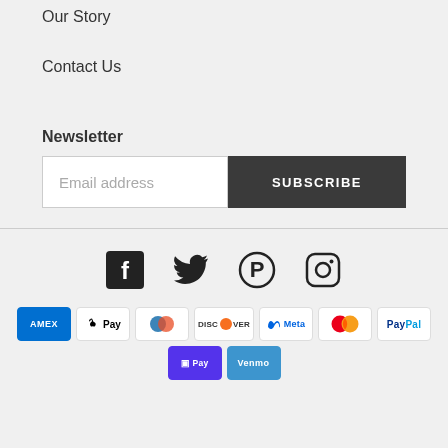Our Story
Contact Us
Newsletter
Email address  SUBSCRIBE
[Figure (other): Social media icons: Facebook, Twitter, Pinterest, Instagram]
[Figure (other): Payment method badges: American Express, Apple Pay, Diners Club, Discover, Meta Pay, Mastercard, PayPal, Shop Pay, Venmo]